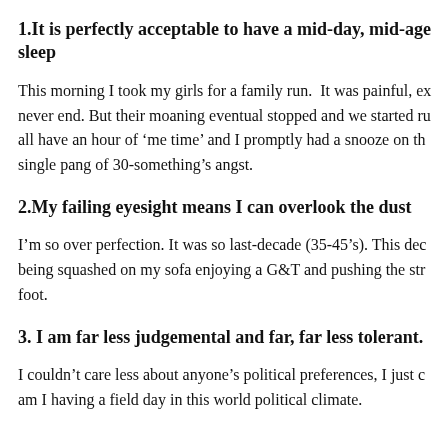1.It is perfectly acceptable to have a mid-day, mid-age sleep
This morning I took my girls for a family run.  It was painful, ex never end. But their moaning eventual stopped and we started ru all have an hour of ‘me time’ and I promptly had a snooze on th single pang of 30-something’s angst.
2.My failing eyesight means I can overlook the dust
I’m so over perfection. It was so last-decade (35-45’s). This dec being squashed on my sofa enjoying a G&T and pushing the str foot.
3. I am far less judgemental and far, far less tolerant.
I couldn’t care less about anyone’s political preferences, I just c am I having a field day in this world political climate.